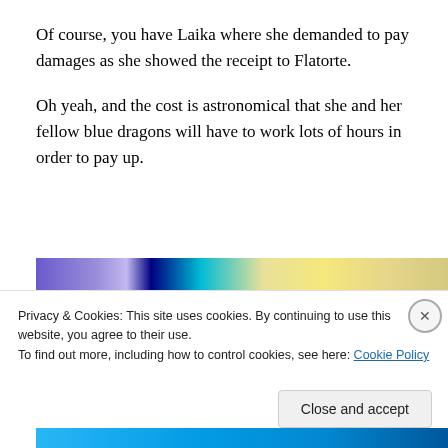Of course, you have Laika where she demanded to pay damages as she showed the receipt to Flatorte.
Oh yeah, and the cost is astronomical that she and her fellow blue dragons will have to work lots of hours in order to pay up.
[Figure (illustration): Colorful anime/manga-style illustration strip showing characters with purple, cyan, and yellow color scheme]
Privacy & Cookies: This site uses cookies. By continuing to use this website, you agree to their use.
To find out more, including how to control cookies, see here: Cookie Policy